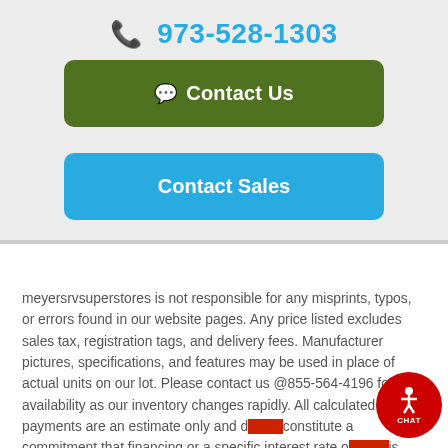973-528-1303
[Figure (infographic): Green rounded rectangle button labeled 'Contact Us' with chat icon]
[Figure (infographic): Blue rounded rectangle button labeled 'Contact Sales']
meyersrvsuperstores is not responsible for any misprints, typos, or errors found in our website pages. Any price listed excludes sales tax, registration tags, and delivery fees. Manufacturer pictures, specifications, and features may be used in place of actual units on our lot. Please contact us @855-564-4196 for availability as our inventory changes rapidly. All calculated payments are an estimate only and do not constitute a commitment that financing or a specific interest rate or term is available. Sales prices based on financing with Meyer's RV Super...